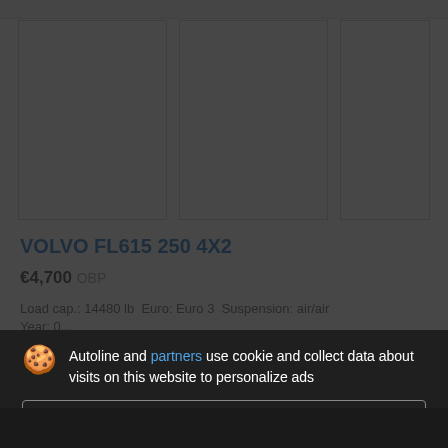[Figure (screenshot): Three thumbnail image placeholders for vehicle listing]
VOLVO FL615 250 4X2
€4,700 OBP
Load cap.: 14480 lb  Euro: Euro 3  Suspension: air/air  Year: 00...
Autoline and partners use cookie and collect data about visits on this website to personalize ads
Details
Accept and close